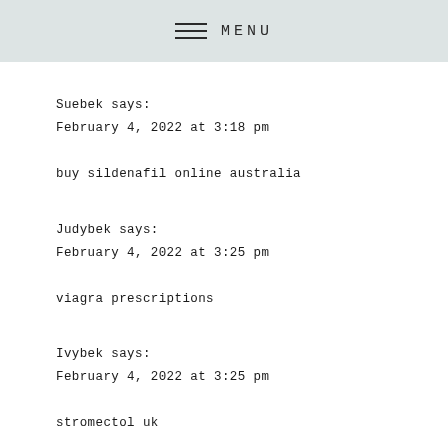MENU
Suebek says:
February 4, 2022 at 3:18 pm

buy sildenafil online australia
Judybek says:
February 4, 2022 at 3:25 pm

viagra prescriptions
Ivybek says:
February 4, 2022 at 3:25 pm

stromectol uk